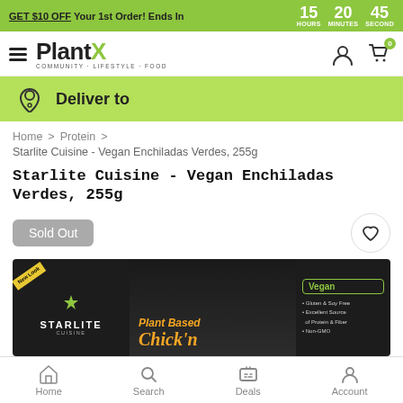GET $10 OFF Your 1st Order! Ends In 15 HOURS 20 MINUTES 45 SECOND
[Figure (logo): PlantX logo with hamburger menu icon, user icon, and cart icon with badge showing 0]
Deliver to
Home > Protein > Starlite Cuisine - Vegan Enchiladas Verdes, 255g
Starlite Cuisine - Vegan Enchiladas Verdes, 255g
Sold Out
[Figure (photo): Starlite Cuisine product package showing Vegan Enchiladas Verdes 255g. Dark background with 'New Look' yellow banner, Starlite logo with leaf, 'Plant Based Chick'n' text in orange italic, and right panel showing Vegan badge with bullet points: Gluten & Soy Free, Excellent Source of Protein & Fiber, Non-GMO]
Home  Search  Deals  Account